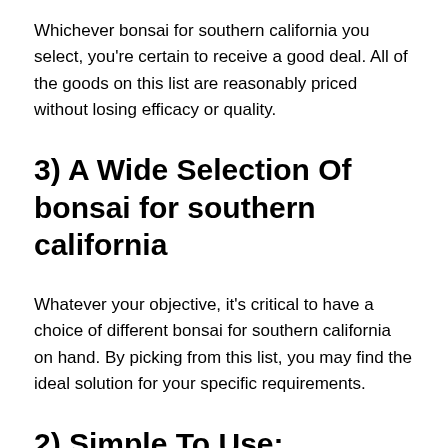Whichever bonsai for southern california you select, you're certain to receive a good deal. All of the goods on this list are reasonably priced without losing efficacy or quality.
3) A Wide Selection Of bonsai for southern california
Whatever your objective, it's critical to have a choice of different bonsai for southern california on hand. By picking from this list, you may find the ideal solution for your specific requirements.
2) Simple To Use:
Check to see if the bonsai for southern california are simple to use. If it is not simple to utilize, you will be overwhelmed in a genuine field or common area. Therefore, determine whether